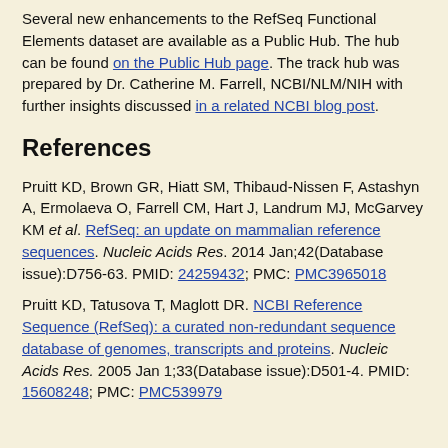Several new enhancements to the RefSeq Functional Elements dataset are available as a Public Hub. The hub can be found on the Public Hub page. The track hub was prepared by Dr. Catherine M. Farrell, NCBI/NLM/NIH with further insights discussed in a related NCBI blog post.
References
Pruitt KD, Brown GR, Hiatt SM, Thibaud-Nissen F, Astashyn A, Ermolaeva O, Farrell CM, Hart J, Landrum MJ, McGarvey KM et al. RefSeq: an update on mammalian reference sequences. Nucleic Acids Res. 2014 Jan;42(Database issue):D756-63. PMID: 24259432; PMC: PMC3965018
Pruitt KD, Tatusova T, Maglott DR. NCBI Reference Sequence (RefSeq): a curated non-redundant sequence database of genomes, transcripts and proteins. Nucleic Acids Res. 2005 Jan 1;33(Database issue):D501-4. PMID: 15608248; PMC: PMC539979